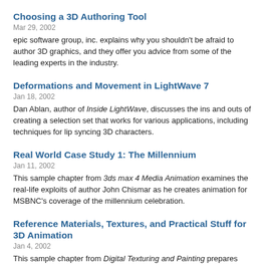Choosing a 3D Authoring Tool
Mar 29, 2002
epic software group, inc. explains why you shouldn't be afraid to author 3D graphics, and they offer you advice from some of the leading experts in the industry.
Deformations and Movement in LightWave 7
Jan 18, 2002
Dan Ablan, author of Inside LightWave, discusses the ins and outs of creating a selection set that works for various applications, including techniques for lip syncing 3D characters.
Real World Case Study 1: The Millennium
Jan 11, 2002
This sample chapter from 3ds max 4 Media Animation examines the real-life exploits of author John Chismar as he creates animation for MSBNC's coverage of the millennium celebration.
Reference Materials, Textures, and Practical Stuff for 3D Animation
Jan 4, 2002
This sample chapter from Digital Texturing and Painting prepares